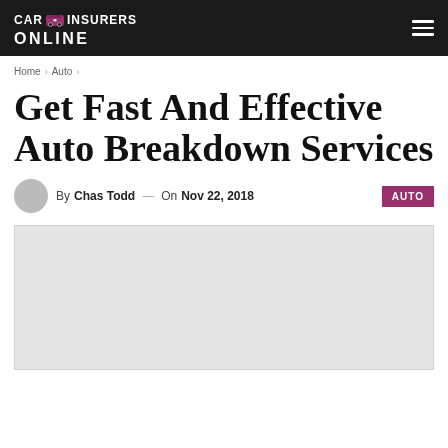CAR INSURERS ONLINE
Home > Auto >
Get Fast And Effective Auto Breakdown Services
By Chas Todd — On Nov 22, 2018  AUTO
[Figure (photo): Featured article image placeholder (light gray rectangle)]